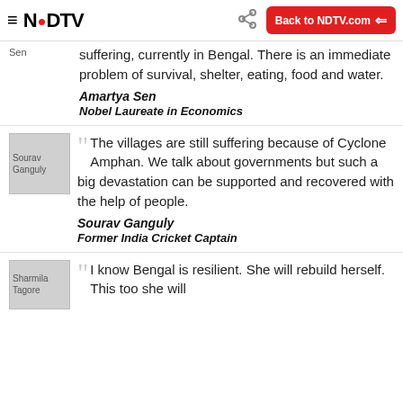≡ NDTV | Back to NDTV.com
suffering, currently in Bengal. There is an immediate problem of survival, shelter, eating, food and water.
Amartya Sen
Nobel Laureate in Economics
[Figure (photo): Sourav Ganguly portrait thumbnail]
The villages are still suffering because of Cyclone Amphan. We talk about governments but such a big devastation can be supported and recovered with the help of people.
Sourav Ganguly
Former India Cricket Captain
[Figure (photo): Sharmila Tagore portrait thumbnail]
I know Bengal is resilient. She will rebuild herself. This too she will